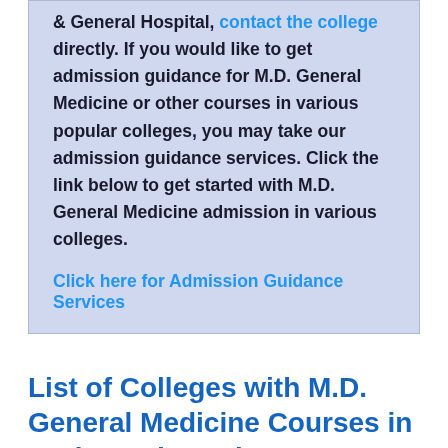& General Hospital, contact the college directly. If you would like to get admission guidance for M.D. General Medicine or other courses in various popular colleges, you may take our admission guidance services. Click the link below to get started with M.D. General Medicine admission in various colleges.

Click here for Admission Guidance Services
List of Colleges with M.D. General Medicine Courses in Narhe and Nearby
As per our records, 1 colleges in Narhe offers M.D. General Medicine. Find the list of colleges in Narhe with M.D. General